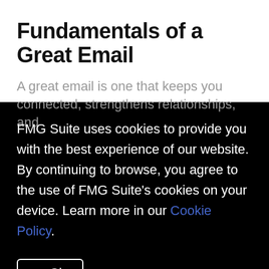Fundamentals of a Great Email
A great email is one that keeps you connected, strengthens relationships, and
FMG Suite uses cookies to provide you with the best experience of our website. By continuing to browse, you agree to the use of FMG Suite's cookies on your device. Learn more in our Cookie Policy.
✓ Ok